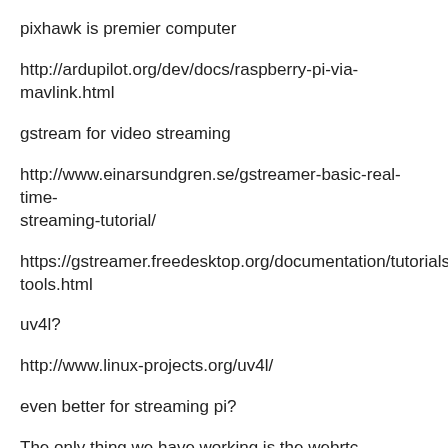pixhawk is premier computer
http://ardupilot.org/dev/docs/raspberry-pi-via-mavlink.html
gstream for video streaming
http://www.einarsundgren.se/gstreamer-basic-real-time-streaming-tutorial/
https://gstreamer.freedesktop.org/documentation/tutorials/bas tools.html
uv4l?
http://www.linux-projects.org/uv4l/
even better for streaming pi?
The only thing we have working is the webrtc brwoser based camera.
You need to click call to make it start